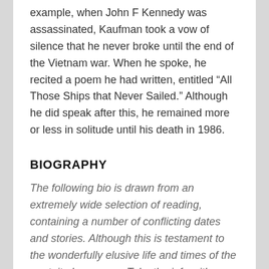example, when John F Kennedy was assassinated, Kaufman took a vow of silence that he never broke until the end of the Vietnam war. When he spoke, he recited a poem he had written, entitled “All Those Ships that Never Sailed.” Although he did speak after this, he remained more or less in solitude until his death in 1986.
BIOGRAPHY
The following bio is drawn from an extremely wide selection of reading, containing a number of conflicting dates and stories. Although this is testament to the wonderfully elusive life and times of the poet, it also means: Take the info with a pinch of salt, friend.